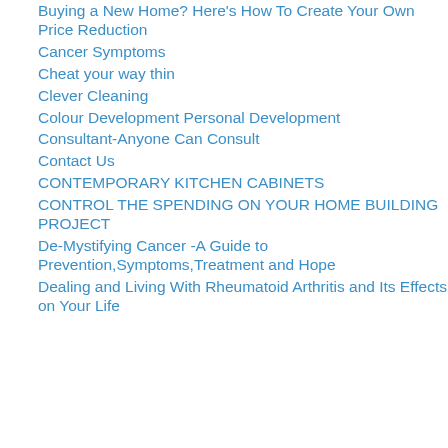Buying a New Home? Here's How To Create Your Own Price Reduction
Cancer Symptoms
Cheat your way thin
Clever Cleaning
Colour Development Personal Development
Consultant-Anyone Can Consult
Contact Us
CONTEMPORARY KITCHEN CABINETS
CONTROL THE SPENDING ON YOUR HOME BUILDING PROJECT
De-Mystifying Cancer -A Guide to Prevention,Symptoms,Treatment and Hope
Dealing and Living With Rheumatoid Arthritis and Its Effects on Your Life